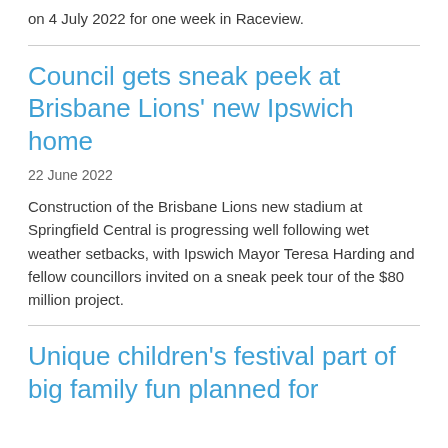on 4 July 2022 for one week in Raceview.
Council gets sneak peek at Brisbane Lions' new Ipswich home
22 June 2022
Construction of the Brisbane Lions new stadium at Springfield Central is progressing well following wet weather setbacks, with Ipswich Mayor Teresa Harding and fellow councillors invited on a sneak peek tour of the $80 million project.
Unique children's festival part of big family fun planned for